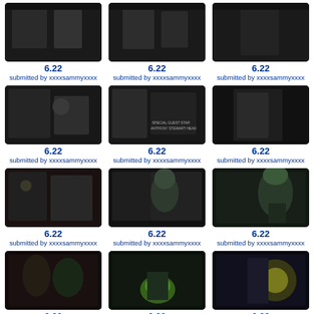[Figure (photo): Dark TV screenshot showing two people]
6.22
submitted by xxxxsammyxxxx
[Figure (photo): Dark TV screenshot showing two people]
6.22
submitted by xxxxsammyxxxx
[Figure (photo): Dark TV screenshot showing a figure]
6.22
submitted by xxxxsammyxxxx
[Figure (photo): Dark TV screenshot two people indoors]
6.22
submitted by xxxxsammyxxxx
[Figure (photo): Dark TV screenshot two people with text overlay Anthony Stewart Head]
6.22
submitted by xxxxsammyxxxx
[Figure (photo): Dark TV screenshot single figure]
6.22
submitted by xxxxsammyxxxx
[Figure (photo): Dark TV screenshot woman]
6.22
submitted by xxxxsammyxxxx
[Figure (photo): Dark TV screenshot hooded figure]
6.22
submitted by xxxxsammyxxxx
[Figure (photo): Dark TV screenshot green-faced figure]
6.22
submitted by xxxxsammyxxxx
[Figure (photo): Dark TV screenshot two people green glow]
6.22
submitted by xxxxsammyxxxx
[Figure (photo): Dark TV screenshot glowing cauldron]
6.22
submitted by xxxxsammyxxxx
[Figure (photo): Dark TV screenshot bright light effect]
6.22
submitted by xxxxsammyxxxx
[Figure (photo): Nearly black TV screenshot]
6.22
[Figure (photo): Dark TV screenshot woman with subtitle Jed Walsh]
6.22
[Figure (photo): Dark TV screenshot two people in doorway]
6.22